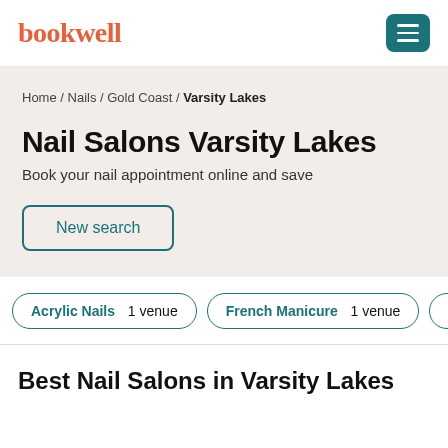bookwell
Home / Nails / Gold Coast / Varsity Lakes
Nail Salons Varsity Lakes
Book your nail appointment online and save
New search
Acrylic Nails 1 venue
French Manicure 1 venue
Gel
Best Nail Salons in Varsity Lakes